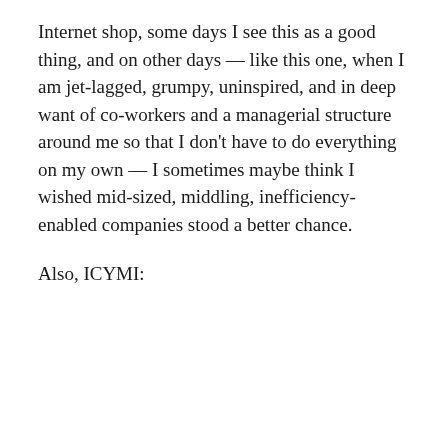Internet shop, some days I see this as a good thing, and on other days — like this one, when I am jet-lagged, grumpy, uninspired, and in deep want of co-workers and a managerial structure around me so that I don't have to do everything on my own — I sometimes maybe think I wished mid-sized, middling, inefficiency-enabled companies stood a better chance.
Also, ICYMI: